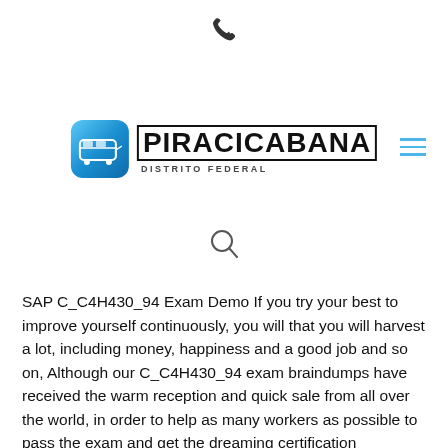[Figure (other): Phone/call icon at top center]
[Figure (logo): Piracicabana Distrito Federal logo with bus icon and bold text]
[Figure (other): Search magnifying glass icon]
SAP C_C4H430_94 Exam Demo If you try your best to improve yourself continuously, you will that you will harvest a lot, including money, happiness and a good job and so on, Although our C_C4H430_94 exam braindumps have received the warm reception and quick sale from all over the world, in order to help as many workers as possible to pass the exam and get the dreaming certification successfully, we still keep a favorable price for our best C_C4H430_94 exam simulation, Users are buying something online (such as C_C4H430_94 learning materials), always want vendors to provide a fast and convenient sourcing channel to better